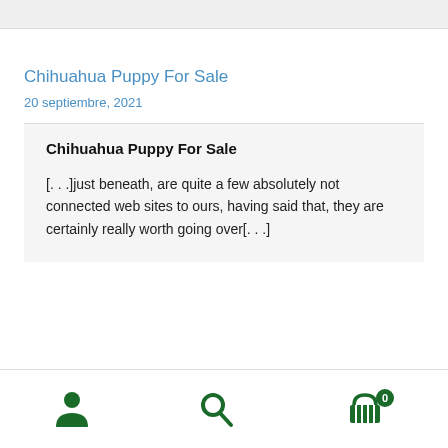Chihuahua Puppy For Sale
20 septiembre, 2021
Chihuahua Puppy For Sale
[…]just beneath, are quite a few absolutely not connected web sites to ours, having said that, they are certainly really worth going over[…]